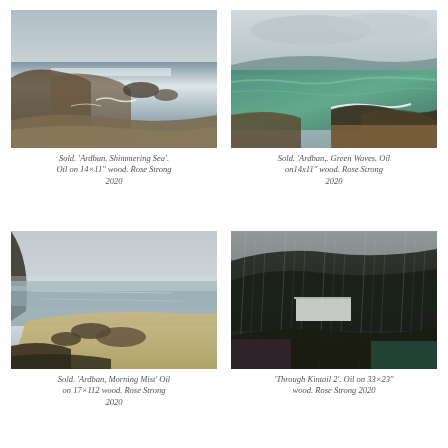[Figure (illustration): Oil painting of a seascape with rocky coastline, shimmering water, and overcast sky – 'Ardban. Shimmering Sea']
Sold. 'Ardban. Shimmering Sea'. Oil on 14×11" wood. Rose Strong 2020
[Figure (illustration): Oil painting of green ocean waves crashing over dark rocks with cloudy sky – 'Ardban,. Green Waves']
Sold. 'Ardban,. Green Waves. Oil on14x11" wood. Rose Strong 2020
[Figure (illustration): Oil painting of a misty morning seascape with sandy shore and dark rocks – 'Ardban, Morning Mist']
Sold. 'Ardban, Morning Mist' Oil on 17×112 wood. Rose Strong 2020
[Figure (illustration): Oil painting of a dark rainy landscape with a white building through heavy rain streaks and dark hills – 'Through Kintail 2']
'Through Kintail 2'. Oil on 33×23" wood. Rose Strong 2020